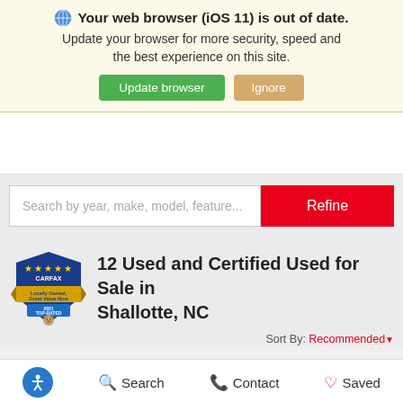🌐 Your web browser (iOS 11) is out of date. Update your browser for more security, speed and the best experience on this site. Update browser | Ignore
[Figure (screenshot): Search bar with placeholder text 'Search by year, make, model, feature...' and a red Refine button]
12 Used and Certified Used for Sale in Shallotte, NC
Sort By: Recommended
Accessibility | Search | Contact | Saved